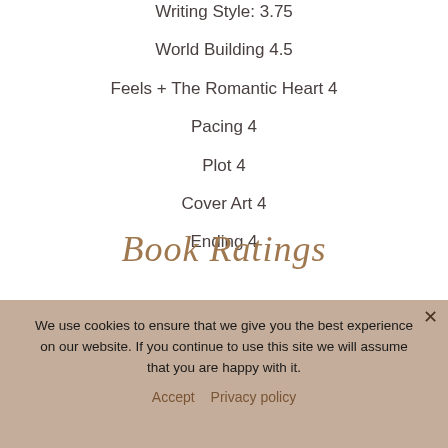Writing Style: 3.75
World Building 4.5
Feels + The Romantic Heart 4
Pacing 4
Plot 4
Cover Art 4
Ending 4
Book Ratings
We use cookies to ensure that we give you the best experience on our website. If you continue to use this site we will assume that you are happy with it.
Accept   Privacy policy